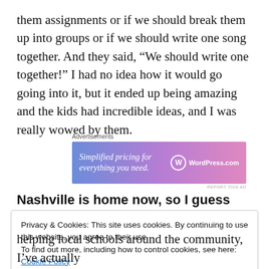them assignments or if we should break them up into groups or if we should write one song together. And they said, “We should write one together!” I had no idea how it would go going into it, but it ended up being amazing and the kids had incredible ideas, and I was really wowed by them.
[Figure (other): WordPress.com advertisement banner: 'Simplified pricing for everything you need.' with WordPress.com logo on a blue-to-pink gradient background]
Nashville is home now, so I guess local schools are
Privacy & Cookies: This site uses cookies. By continuing to use this website, you agree to their use.
To find out more, including how to control cookies, see here: Cookie Policy
helping local schools around the community, I’ve actually